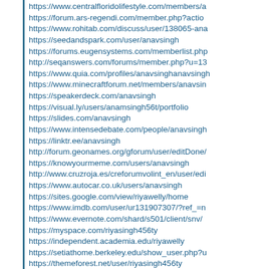https://www.centralfloridolifestyle.com/members/a
https://forum.ars-regendi.com/member.php?actio
https://www.rohitab.com/discuss/user/138065-ana
https://seedandspark.com/user/anavsingh
https://forums.eugensystems.com/memberlist.php
http://seqanswers.com/forums/member.php?u=13
https://www.quia.com/profiles/anavsinghanavsin
https://www.minecraftforum.net/members/anavsin
https://speakerdeck.com/anavsingh
https://visual.ly/users/anamsingh56t/portfolio
https://slides.com/anavsingh
https://www.intensedebate.com/people/anavsingh
https://linktr.ee/anavsingh
http://forum.geonames.org/gforum/user/editDone/
https://knowyourmeme.com/users/anavsingh
http://www.cruzroja.es/creforumvolint_en/user/edi
https://www.autocar.co.uk/users/anavsingh
https://sites.google.com/view/riyawelly/home
https://www.imdb.com/user/ur131907307/?ref_=n
https://www.evernote.com/shard/s501/client/snv/
https://myspace.com/riyasingh456ty
https://independent.academia.edu/riyawelly
https://setiathome.berkeley.edu/show_user.php?u
https://themeforest.net/user/riyasingh456ty
https://www.reverbnation.com/artist/riyawelly